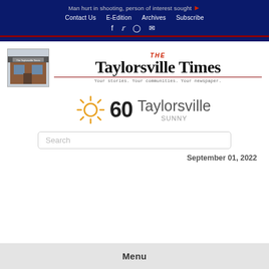Man hurt in shooting, person of interest sought
Contact Us  E-Edition  Archives  Subscribe
Social icons: Facebook, Twitter, Instagram, Email
[Figure (logo): The Taylorsville Times newspaper logo with building photo, blackletter title text, red rule and tagline: Your stories. Your communities. Your newspaper.]
[Figure (infographic): Weather widget showing sun icon, temperature 60, location Taylorsville, condition SUNNY]
Search
September 01, 2022
Menu